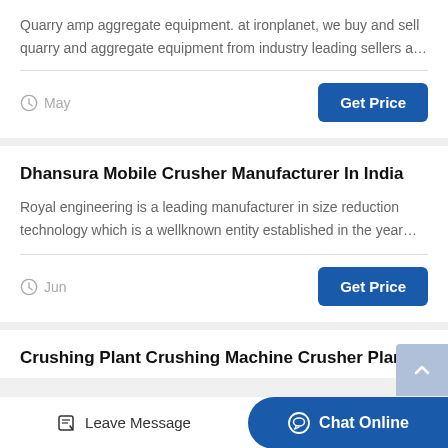Quarry amp aggregate equipment. at ironplanet, we buy and sell quarry and aggregate equipment from industry leading sellers a…
May
Get Price
Dhansura Mobile Crusher Manufacturer In India
Royal engineering is a leading manufacturer in size reduction technology which is a wellknown entity established in the year…
Jun
Get Price
Crushing Plant Crushing Machine Crusher Plant
Leave Message  Chat Online